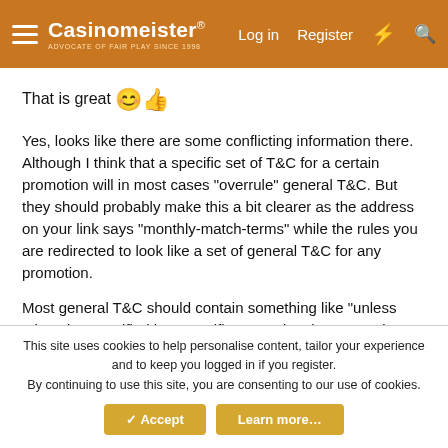Casinomeister® Log in Register
That is great 😊👍
Yes, looks like there are some conflicting information there. Although I think that a specific set of T&C for a certain promotion will in most cases "overrule" general T&C. But they should probably make this a bit clearer as the address on your link says "monthly-match-terms" while the rules you are redirected to look like a set of general T&C for any promotion.
Most general T&C should contain something like "unless otherwise specified in a specific promotional terms and conditions".
This site uses cookies to help personalise content, tailor your experience and to keep you logged in if you register.
By continuing to use this site, you are consenting to our use of cookies.